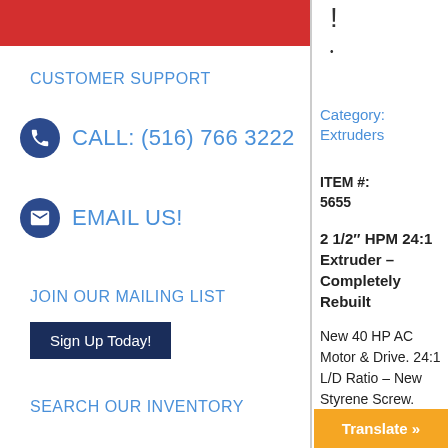CUSTOMER SUPPORT
CALL: (516) 766 3222
EMAIL US!
JOIN OUR MAILING LIST
Sign Up Today!
SEARCH OUR INVENTORY
Category: Extruders
ITEM #: 5655
2 1/2″ HPM 24:1 Extruder – Completely Rebuilt
New 40 HP AC Motor & Drive. 24:1 L/D Ratio – New Styrene Screw.
Translate »